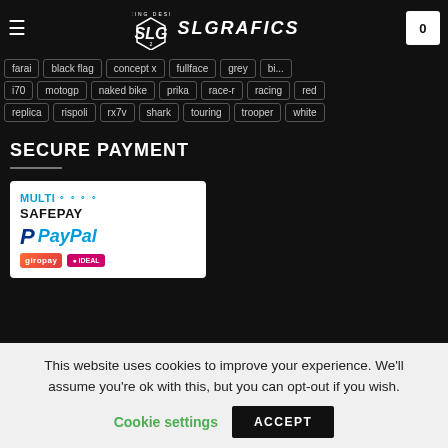SLGRAFICS – Racing Design
farai
black flag
concept x
fullface
grey
i70
motogp
naked bike
prika
race-r
racing
red
replica
rispoli
rx7v
shark
touring
trooper
white
SECURE PAYMENT
[Figure (logo): Secure payment logos: MultiSafepay, PayPal, Giropay, iDEAL]
This website uses cookies to improve your experience. We'll assume you're ok with this, but you can opt-out if you wish.
Cookie settings  ACCEPT